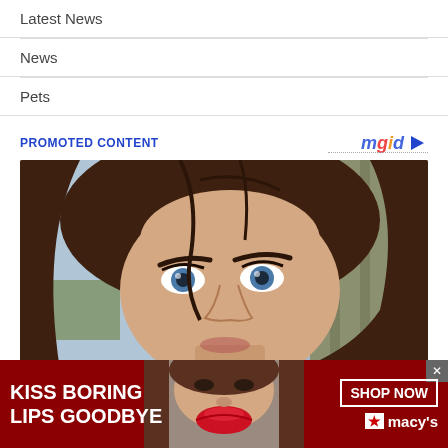Latest News
News
Pets
PROMOTED CONTENT
[Figure (photo): Photo of a young woman with long brown hair and blue eyes looking at camera, used as promoted content thumbnail. Below it is an advertisement banner for Macy's with text 'KISS BORING LIPS GOODBYE' and 'SHOP NOW' button with Macy's star logo.]